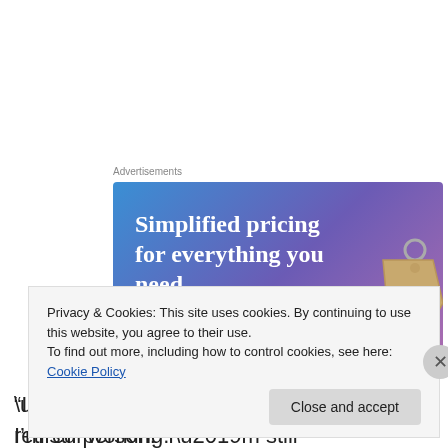[Figure (illustration): Advertisement banner with gradient blue-purple background showing 'Simplified pricing for everything you need.' headline, a pink 'Build Your Website' button, and a price tag graphic on the right.]
“I don’t need discounts for a retired person.  I’m still working.”
Privacy & Cookies: This site uses cookies. By continuing to use this website, you agree to their use.
To find out more, including how to control cookies, see here: Cookie Policy
Close and accept